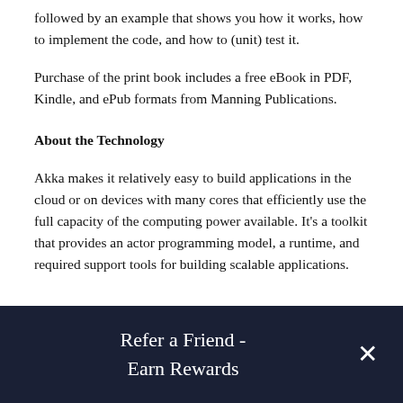followed by an example that shows you how it works, how to implement the code, and how to (unit) test it.
Purchase of the print book includes a free eBook in PDF, Kindle, and ePub formats from Manning Publications.
About the Technology
Akka makes it relatively easy to build applications in the cloud or on devices with many cores that efficiently use the full capacity of the computing power available. It's a toolkit that provides an actor programming model, a runtime, and required support tools for building scalable applications.
Refer a Friend - Earn Rewards